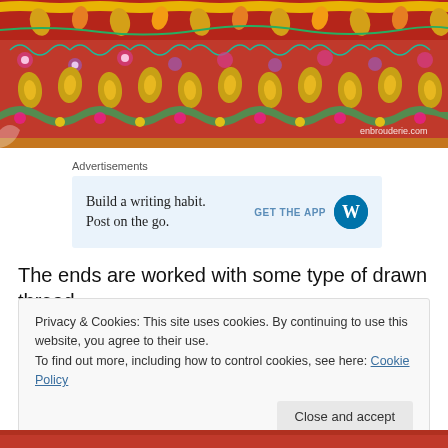[Figure (photo): Close-up photograph of colorful Indian embroidery on red fabric with intricate floral and leaf patterns in yellow, green, pink, and teal. Watermark reads 'enbrouderie.com' in bottom right corner.]
Advertisements
[Figure (other): Advertisement banner with light blue background. Text: 'Build a writing habit. Post on the go.' with 'GET THE APP' button and WordPress logo icon.]
The ends are worked with some type of drawn thread
Privacy & Cookies: This site uses cookies. By continuing to use this website, you agree to their use.
To find out more, including how to control cookies, see here: Cookie Policy
Close and accept